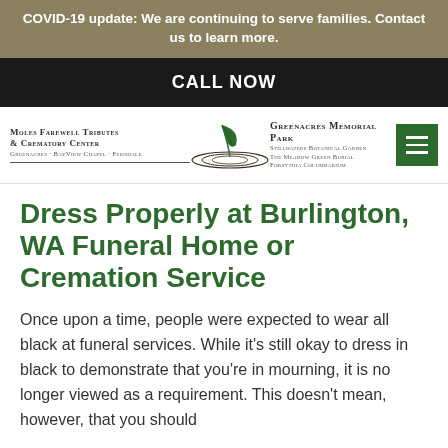COVID-19 update: We are continuing to serve families. Contact us to learn more.
CALL NOW
[Figure (logo): Moles Farewell Tributes & Crematory Center / Greenacres Memorial Park logo with leaf emblem]
Dress Properly at Burlington, WA Funeral Home or Cremation Service
Once upon a time, people were expected to wear all black at funeral services. While it's still okay to dress in black to demonstrate that you're in mourning, it is no longer viewed as a requirement. This doesn't mean, however, that you should